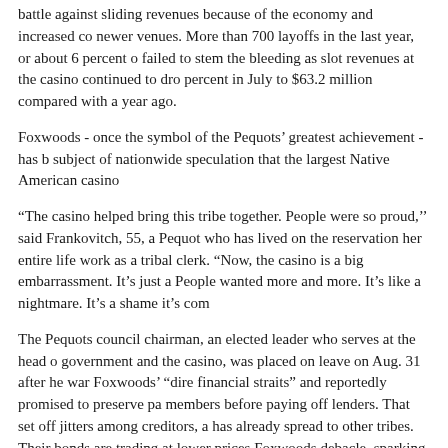battle against sliding revenues because of the economy and increased co newer venues. More than 700 layoffs in the last year, or about 6 percent o failed to stem the bleeding as slot revenues at the casino continued to dro percent in July to $63.2 million compared with a year ago.
Foxwoods - once the symbol of the Pequots' greatest achievement - has b subject of nationwide speculation that the largest Native American casino
“The casino helped bring this tribe together. People were so proud,'' said Frankovitch, 55, a Pequot who has lived on the reservation her entire life work as a tribal clerk. “Now, the casino is a big embarrassment. It’s just a People wanted more and more. It’s like a nightmare. It’s a shame it’s com
The Pequots council chairman, an elected leader who serves at the head o government and the casino, was placed on leave on Aug. 31 after he war Foxwoods’ “dire financial straits” and reportedly promised to preserve pa members before paying off lenders. That set off jitters among creditors, a has already spread to other tribes. Their bonds are trading at lower prices Foxwoods debacle, sparking worries that native casinos such as Mohega more expensive to borrow money. The tumult threatens to unravel years o success and tribal security, and dampen efforts to expand native gaming t including Massachusetts. Continued...